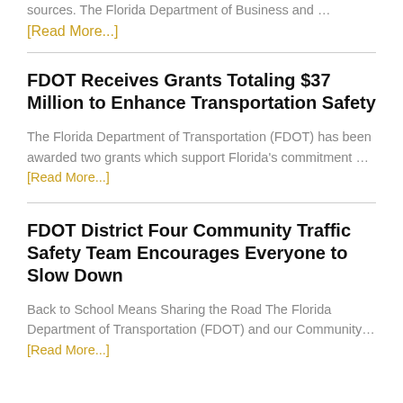… The Florida Department of Business and …
[Read More...]
FDOT Receives Grants Totaling $37 Million to Enhance Transportation Safety
The Florida Department of Transportation (FDOT) has been awarded two grants which support Florida's commitment … [Read More...]
FDOT District Four Community Traffic Safety Team Encourages Everyone to Slow Down
Back to School Means Sharing the Road The Florida Department of Transportation (FDOT) and our Community … [Read More...]